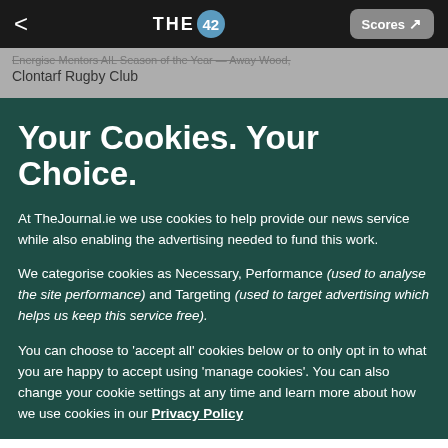THE42 | Scores
Energise Mentors AIL Season of the Year — Away Wood, Clontarf Rugby Club
Your Cookies. Your Choice.
At TheJournal.ie we use cookies to help provide our news service while also enabling the advertising needed to fund this work.
We categorise cookies as Necessary, Performance (used to analyse the site performance) and Targeting (used to target advertising which helps us keep this service free).
You can choose to 'accept all' cookies below or to only opt in to what you are happy to accept using 'manage cookies'. You can also change your cookie settings at any time and learn more about how we use cookies in our Privacy Policy